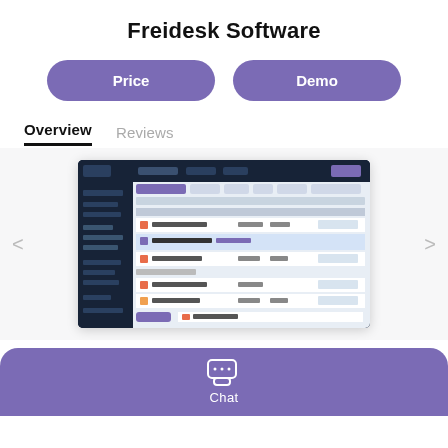Freidesk Software
Price
Demo
Overview
Reviews
[Figure (screenshot): Screenshot of Freidesk Software dashboard interface showing a ticket/task management list with multiple columns and rows of data on a dark-themed background.]
Chat